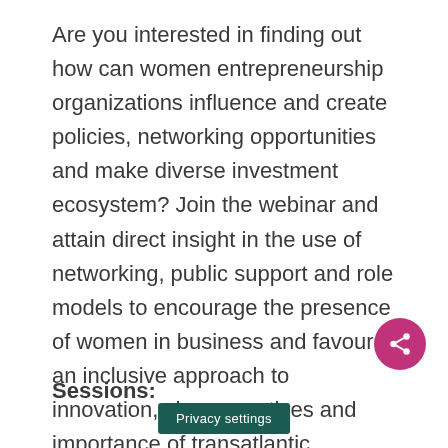Are you interested in finding out how can women entrepreneurship organizations influence and create policies, networking opportunities and make diverse investment ecosystem? Join the webinar and attain direct insight in the use of networking, public support and role models to encourage the presence of women in business and favour an inclusive approach to innovation, share practices and importance of transatlantic networking, lobbying and public policy creation for supporting women entrepreneurship.
Sessions: